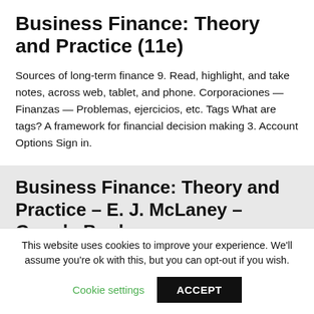Business Finance: Theory and Practice (11e)
Sources of long-term finance 9. Read, highlight, and take notes, across web, tablet, and phone. Corporaciones — Finanzas — Problemas, ejercicios, etc. Tags What are tags? A framework for financial decision making 3. Account Options Sign in.
Business Finance: Theory and Practice – E. J. McLaney – Google Books
This website uses cookies to improve your experience. We'll assume you're ok with this, but you can opt-out if you wish.
Cookie settings   ACCEPT